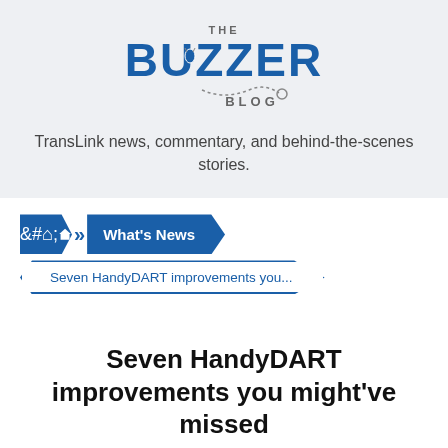[Figure (logo): The Buzzer Blog logo — large blue bold text 'BUZZER' with 'THE' above and 'BLOG' below, with a bee/dotted trail graphic]
TransLink news, commentary, and behind-the-scenes stories.
What's News
Seven HandyDART improvements you...
Seven HandyDART improvements you might've missed